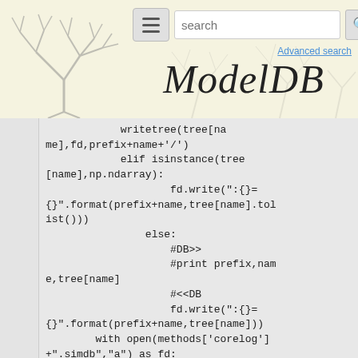ModelDB - Advanced search
writetree(tree[name],fd,prefix+name+'/')
            elif isinstance(tree[name],np.ndarray):
                    fd.write(":{}={}".format(prefix+name,tree[name].tolist()))
                else:
                    #DB>>
                    #print prefix,name,tree[name]
                    #<<DB
                    fd.write(":{}={}".format(prefix+name,tree[name]))
        with open(methods['corelog']+".simdb","a") as fd:
            fcntl.lockf(fd, fcntl.LOCK_EX)
            now = datetime.now()
            fd.write("SIMDB/TIMESTAMP